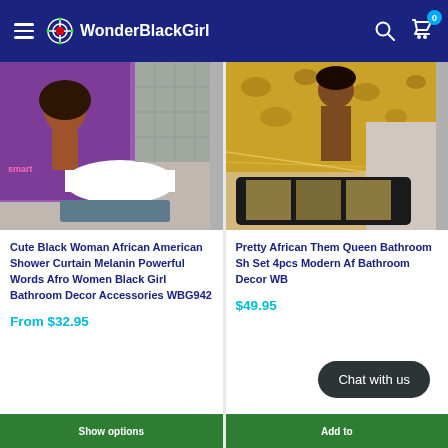WonderBlackGirl
[Figure (photo): Product image of a shower curtain with African American woman design, shown in bathroom setting with bathtub and mat]
Cute Black Woman African American Shower Curtain Melanin Powerful Words Afro Women Black Girl Bathroom Decor Accessories WBG942
From $32.95
[Figure (photo): Product image of a bathroom set with African queen theme, showing mat and accessories with gold and black design]
Pretty African Them Queen Bathroom Sh Set 4pcs Modern Af Bathroom Decor WB
$49.95